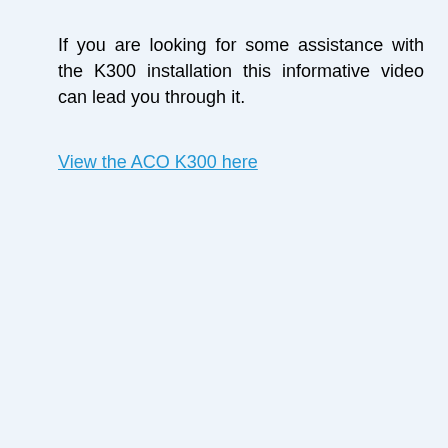If you are looking for some assistance with the K300 installation this informative video can lead you through it.
View the ACO K300 here